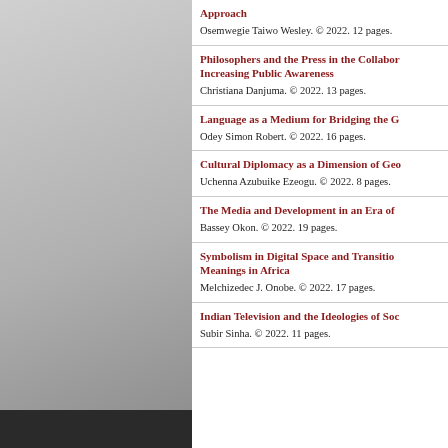Approach. Osemwegie Taiwo Wesley. © 2022. 12 pages.
Philosophers and the Press in the Collaborative Increasing Public Awareness. Christiana Danjuma. © 2022. 13 pages.
Language as a Medium for Bridging the G. Odey Simon Robert. © 2022. 16 pages.
Cultural Diplomacy as a Dimension of Geo. Uchenna Azubuike Ezeogu. © 2022. 8 pages.
The Media and Development in an Era of. Bassey Okon. © 2022. 19 pages.
Symbolism in Digital Space and Transition Meanings in Africa. Melchizedec J. Onobe. © 2022. 17 pages.
Indian Television and the Ideologies of Soc. Subir Sinha. © 2022. 11 pages.